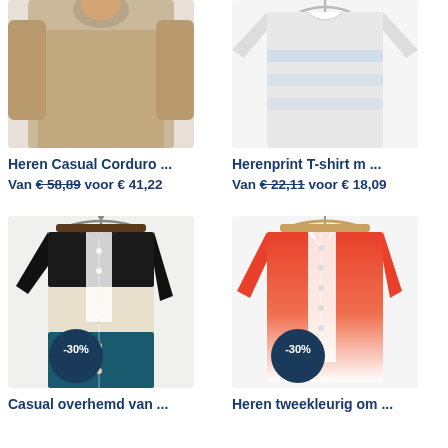[Figure (photo): Heren Casual Corduroy shirt on a hanger, partially visible at top]
Heren Casual Corduro ...
Van € 58,89 voor € 41,22
[Figure (photo): Herenprint T-shirt partially visible at top]
Herenprint T-shirt m ...
Van € 22,11 voor € 18,09
[Figure (photo): Casual overhemd van heren, color block black/cream/teal on hanger, -30% badge]
Casual overhemd van ...
[Figure (photo): Heren tweekleurig ombre shirt, coral/white on hanger, -30% badge]
Heren tweekleurig om ...